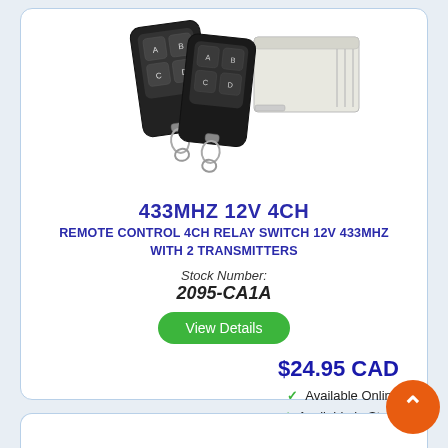[Figure (photo): Product photo showing two black 4-button key fob remote controls with key rings and a white rectangular relay receiver box]
433MHZ 12V 4CH
REMOTE CONTROL 4CH RELAY SWITCH 12V 433MHZ WITH 2 TRANSMITTERS
Stock Number:
2095-CA1A
View Details
$24.95 CAD
✓ Available Online
✓ Available in Store